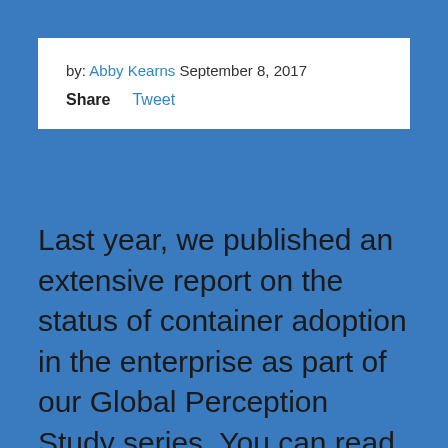by: Abby Kearns September 8, 2017
Share   Tweet
Last year, we published an extensive report on the status of container adoption in the enterprise as part of our Global Perception Study series. You can read an overview of that 2016 report in my blog post from last summer. Now, we've released a